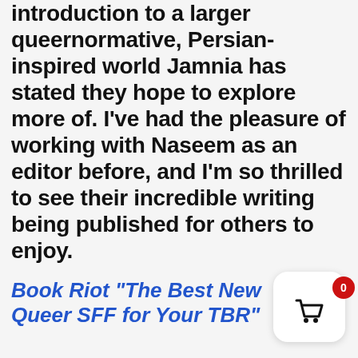introduction to a larger queernormative, Persian-inspired world Jamnia has stated they hope to explore more of. I've had the pleasure of working with Naseem as an editor before, and I'm so thrilled to see their incredible writing being published for others to enjoy.
Book Riot “The Best New Queer SFF for Your TBR”
[Figure (other): Shopping cart widget icon with red badge showing 0]